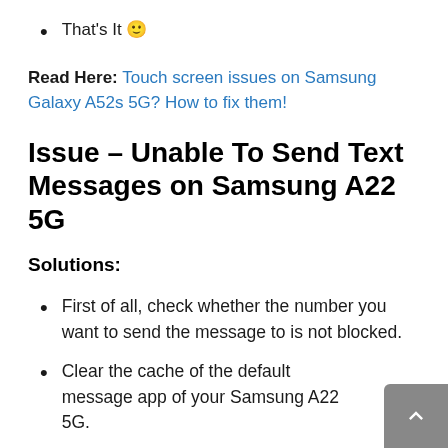That's It 🙂
Read Here: Touch screen issues on Samsung Galaxy A52s 5G? How to fix them!
Issue – Unable To Send Text Messages on Samsung A22 5G
Solutions:
First of all, check whether the number you want to send the message to is not blocked.
Clear the cache of the default message app of your Samsung A22 5G.
If you do not need the old messages…